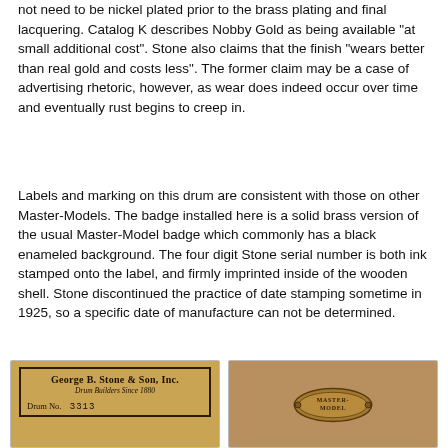not need to be nickel plated prior to the brass plating and final lacquering. Catalog K describes Nobby Gold as being available "at small additional cost". Stone also claims that the finish "wears better than real gold and costs less". The former claim may be a case of advertising rhetoric, however, as wear does indeed occur over time and eventually rust begins to creep in.
Labels and marking on this drum are consistent with those on other Master-Models. The badge installed here is a solid brass version of the usual Master-Model badge which commonly has a black enameled background. The four digit Stone serial number is both ink stamped onto the label, and firmly imprinted inside of the wooden shell. Stone discontinued the practice of date stamping sometime in 1925, so a specific date of manufacture can not be determined.
[Figure (photo): Photo of a George B. Stone & Son, Inc. drum label on a golden/amber colored background. The label reads 'George B. Stone & Son, Inc. Drum Builders Since 1880' with 'Drum No. 3313' handwritten below.]
[Figure (photo): Photo of a solid brass Master-Model badge with embossed text 'MASTER-MODEL' on a textured golden brass surface, with two small screws visible on either side.]